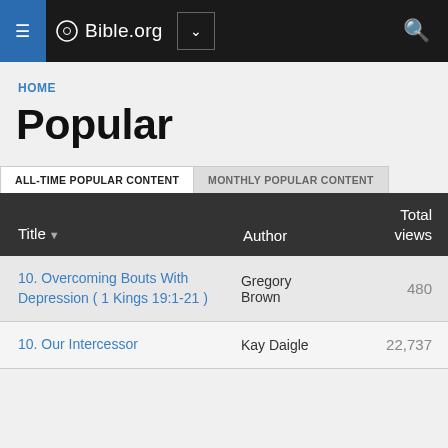Bible.org
HOME
Popular
| Title ▾ | Author | Total views |
| --- | --- | --- |
| 10. Overcoming Bouts With Depression ( 1 Kings 19:1-21 ) | Gregory Brown | 480 |
| 10. Our Intercessor | Kay Daigle | 22,737 |